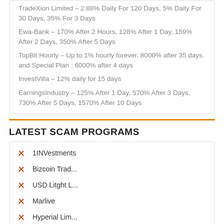TradeXion Limited – 2.88% Daily For 120 Days, 5% Daily For 30 Days, 35% For 3 Days
Ewa-Bank – 170% After 2 Hours, 128% After 1 Day, 159% After 2 Days, 350% After 5 Days
TopBit Hourly – Up to 1% hourly forever. 8000% after 35 days. and Special Plan : 6000% after 4 days
InvestVilla – 12% daily for 15 days
EarningsIndustry – 125% After 1 Day, 570% After 3 Days, 730% After 5 Days, 1570% After 10 Days
LATEST SCAM PROGRAMS
1INVestments
Bizcoin Trad...
USD Litght L...
Marlive
Hyperial Lim...
RisingbetClu...
Beartheddi...